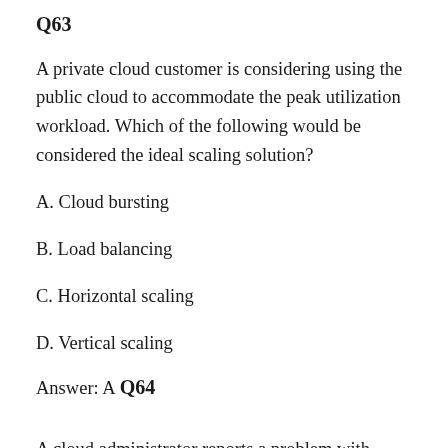Q63
A private cloud customer is considering using the public cloud to accommodate the peak utilization workload. Which of the following would be considered the ideal scaling solution?
A. Cloud bursting
B. Load balancing
C. Horizontal scaling
D. Vertical scaling
Answer: A
Q64
A cloud administrator reports a problem with the...